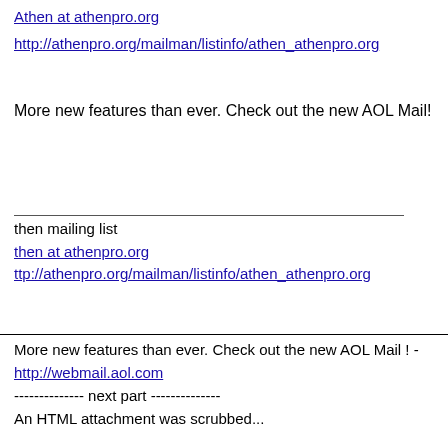Athen at athenpro.org
http://athenpro.org/mailman/listinfo/athen_athenpro.org
More new features than ever. Check out the new AOL Mail!
then mailing list
then at athenpro.org
ttp://athenpro.org/mailman/listinfo/athen_athenpro.org
More new features than ever. Check out the new AOL Mail ! - http://webmail.aol.com
-------------- next part --------------
An HTML attachment was scrubbed...